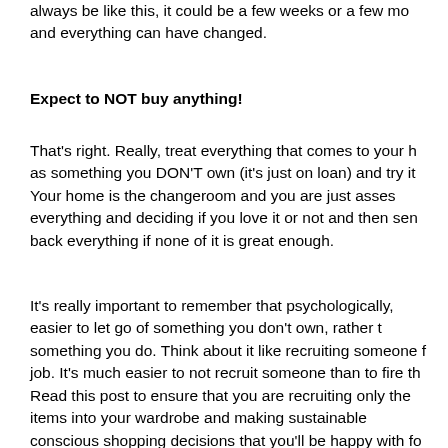always be like this, it could be a few weeks or a few months and everything can have changed.
Expect to NOT buy anything!
That's right. Really, treat everything that comes to your home as something you DON'T own (it's just on loan) and try it on. Your home is the changeroom and you are just assessing everything and deciding if you love it or not and then sending back everything if none of it is great enough.
It's really important to remember that psychologically, it's easier to let go of something you don't own, rather than something you do. Think about it like recruiting someone for a job. It's much easier to not recruit someone than to fire them. Read this post to ensure that you are recruiting only the best items into your wardrobe and making sustainable conscious shopping decisions that you'll be happy with for